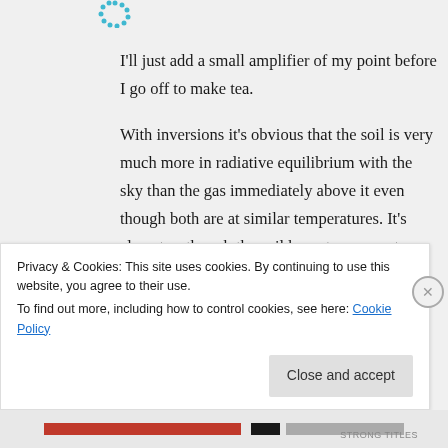[Figure (other): Cyan/teal dotted circular avatar or logo icon in the upper left area]
I'll just add a small amplifier of my point before I go off to make tea.

With inversions it's obvious that the soil is very much more in radiative equilibrium with the sky than the gas immediately above it even though both are at similar temperatures. It's almost as though the soil has a transparent window to
Privacy & Cookies: This site uses cookies. By continuing to use this website, you agree to their use.
To find out more, including how to control cookies, see here: Cookie Policy
Close and accept